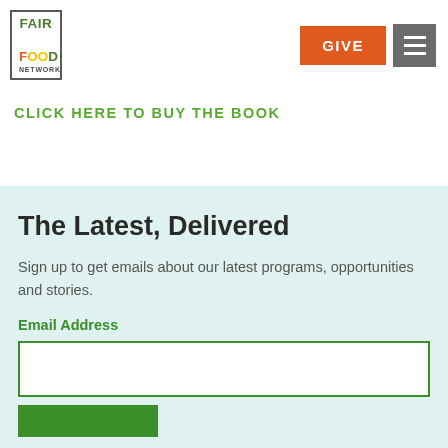[Figure (logo): Fair Food Network logo: green border box with FAIR in green, FOOD in orange/yellow/green, NETWORK in gray]
GIVE
[Figure (other): Hamburger menu icon (three white lines on gray background)]
CLICK HERE TO BUY THE BOOK
The Latest, Delivered
Sign up to get emails about our latest programs, opportunities and stories.
Email Address